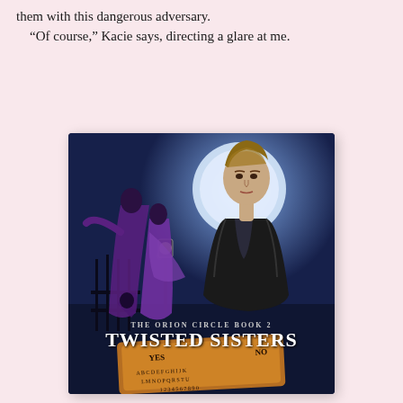them with this dangerous adversary.
“Of course,” Kacie says, directing a glare at me.
[Figure (illustration): Book cover for 'Twisted Sisters, The Orion Circle Book 2' showing a young man in a leather jacket against a moonlit backdrop with purple-clad supernatural female figures near an iron gate and a Ouija board at the bottom.]